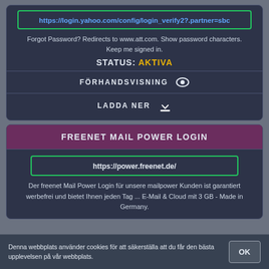https://login.yahoo.com/config/login_verify2?.partner=sbc
Forgot Password? Redirects to www.att.com. Show password characters. Keep me signed in.
STATUS: AKTIVA
FÖRHANDSVISNING
LADDA NER
FREENET MAIL POWER LOGIN
https://power.freenet.de/
Der freenet Mail Power Login für unsere mailpower Kunden ist garantiert werbefrei und bietet Ihnen jeden Tag ... E-Mail & Cloud mit 3 GB - Made in Germany.
Denna webbplats använder cookies för att säkerställa att du får den bästa upplevelsen på vår webbplats.